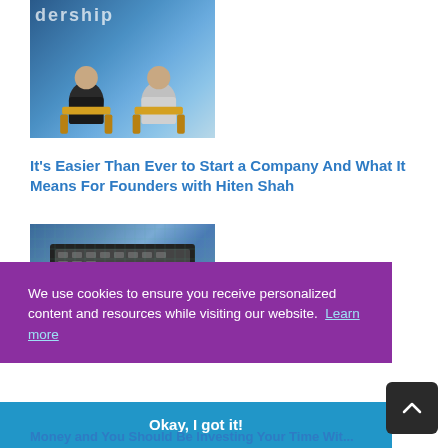[Figure (photo): Two men seated on stage at a leadership conference, with blue digital backdrop showing partial text 'dership' and 'es']
It's Easier Than Ever to Start a Company And What It Means For Founders with Hiten Shah
[Figure (photo): Close-up of hands typing on a laptop keyboard, person wearing plaid/checkered shirt]
We use cookies to ensure you receive personalized content and resources while visiting our website. Learn more
Okay, I got it!
Money and You Should Be Investing Your Time Wit...